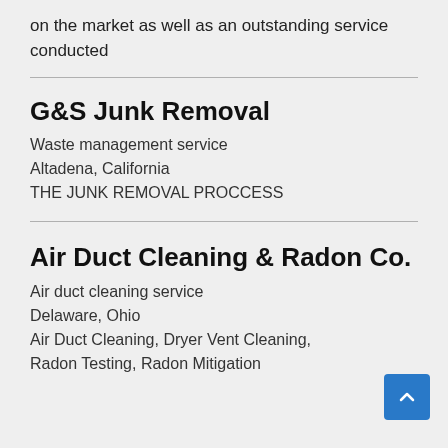on the market as well as an outstanding service conducted
G&S Junk Removal
Waste management service
Altadena, California
THE JUNK REMOVAL PROCCESS
Air Duct Cleaning & Radon Co.
Air duct cleaning service
Delaware, Ohio
Air Duct Cleaning, Dryer Vent Cleaning, Radon Testing, Radon Mitigation